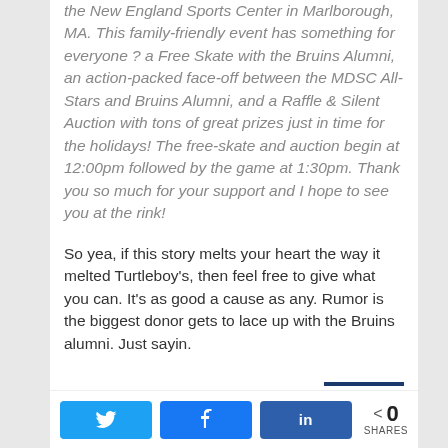the New England Sports Center in Marlborough, MA. This family-friendly event has something for everyone ? a Free Skate with the Bruins Alumni, an action-packed face-off between the MDSC All-Stars and Bruins Alumni, and a Raffle & Silent Auction with tons of great prizes just in time for the holidays! The free-skate and auction begin at 12:00pm followed by the game at 1:30pm. Thank you so much for your support and I hope to see you at the rink!
So yea, if this story melts your heart the way it melted Turtleboy's, then feel free to give what you can. It's as good a cause as any. Rumor is the biggest donor gets to lace up with the Bruins alumni. Just sayin.
[Figure (other): Social sharing buttons: Twitter, Facebook, LinkedIn share buttons and a share count showing 0 SHARES]